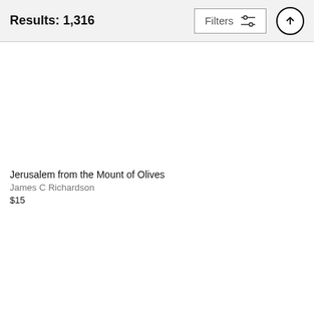Results: 1,316
Filters
Jerusalem from the Mount of Olives
James C Richardson
$15